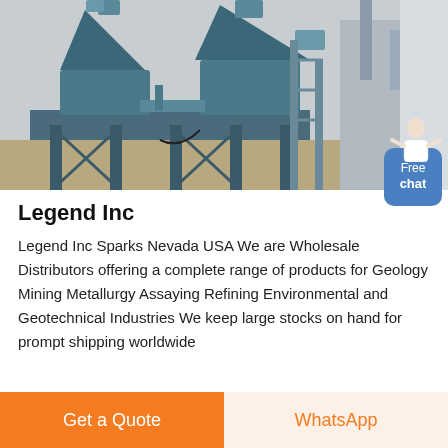[Figure (photo): Industrial mining/crushing machinery — large blue cone crusher and associated equipment on a steel frame structure, desert/arid background, grey sky.]
Legend Inc
Legend Inc Sparks Nevada USA We are Wholesale Distributors offering a complete range of products for Geology Mining Metallurgy Assaying Refining Environmental and Geotechnical Industries We keep large stocks on hand for prompt shipping worldwide
Get a Quote
WhatsApp